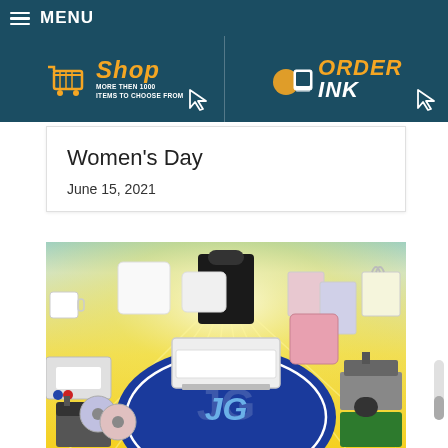MENU
[Figure (screenshot): Navigation header bar with teal/dark blue background. Left half shows shopping cart icon with 'Shop' in orange italic text and 'MORE THEN 1000 ITEMS TO CHOOSE FROM' subtitle, with cursor arrow. Right half shows phone/order icon with 'ORDER INK' in orange/white text, with cursor arrow.]
Women’s Day
June 15, 2021
[Figure (photo): JG Electronics promotional banner with yellow/blue gradient background and sunburst effect. Shows various sublimation/printing products: mugs, decorative pillows, printed t-shirt on mannequin, photo panels, a sublimation printer, cutting machine, heat press machines, bags, and other merchandise arranged around a central blue oval with JG Electronics logo. Bottom center shows large blue oval with 'JG ELECTRONICS' text.]